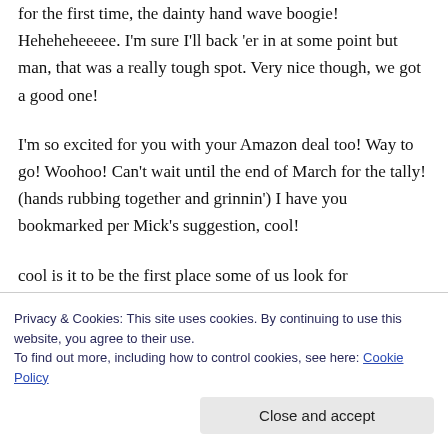for the first time, the dainty hand wave boogie! Heheheheeeee. I'm sure I'll back 'er in at some point but man, that was a really tough spot. Very nice though, we got a good one!
I'm so excited for you with your Amazon deal too! Way to go! Woohoo! Can't wait until the end of March for the tally! (hands rubbing together and grinnin') I have you bookmarked per Mick's suggestion, cool!
cool is it to be the first place some of us look for
Privacy & Cookies: This site uses cookies. By continuing to use this website, you agree to their use.
To find out more, including how to control cookies, see here: Cookie Policy